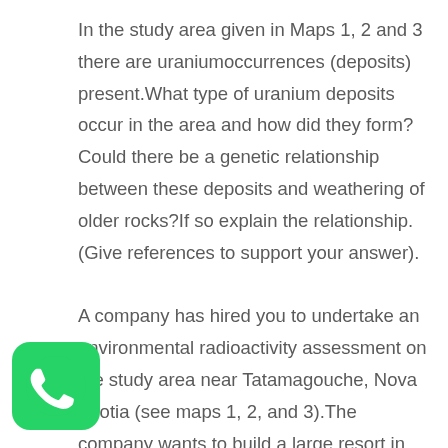In the study area given in Maps 1, 2 and 3 there are uraniumoccurrences (deposits) present.What type of uranium deposits occur in the area and how did they form?Could there be a genetic relationship between these deposits and weathering of older rocks?If so explain the relationship.(Give references to support your answer).

A company has hired you to undertake an environmental radioactivity assessment on the study area near Tatamagouche, Nova Scotia (see maps 1, 2, and 3).The company wants to build a large resort in the study area.The company has hired you assess the radioactive environmental risks in the area.What are the risks?If the resort has to depend on drilled wells to provide water,
[Figure (logo): WhatsApp logo — green rounded square icon with white phone handset]